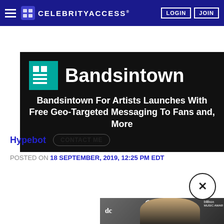CELEBRITY ACCESS — LOGIN | JOIN
[Figure (photo): Bandsintown logo and hero banner with article title: Bandsintown For Artists Launches With Free Geo-Targeted Messaging To Fans and, More]
Hypebot  CONTACT ME
POSTED ON 18 SEPTEMBER, 2019, 12:25 PM EDT
[Figure (infographic): Social sharing buttons: Facebook, Twitter, LinkedIn, Google+, Email, Pinterest, Print]
[Figure (photo): Photo of a man in a patterned suit jacket at the Billboard Music Awards with NBC and Dick Clark Productions logos in background. Close (X) button overlay.]